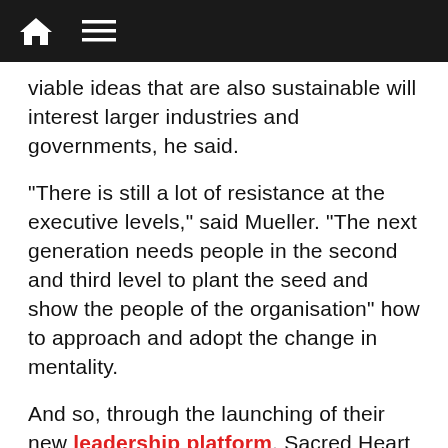[Home icon] [Menu icon]
viable ideas that are also sustainable will interest larger industries and governments, he said.
“There is still a lot of resistance at the executive levels,” said Mueller. “The next generation needs people in the second and third level to plant the seed and show the people of the organisation” how to approach and adopt the change in mentality.
And so, through the launching of their new leadership platform, Sacred Heart University Luxembourg aims to cut fearmongering from the agenda and provide new tools to its participants to confidently approach not just the “Why?” of climate change and the economy but also mainly the “How?” of